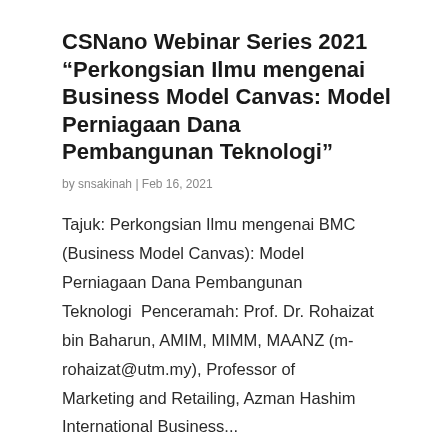CSNano Webinar Series 2021 “Perkongsian Ilmu mengenai Business Model Canvas: Model Perniagaan Dana Pembangunan Teknologi”
by snsakinah | Feb 16, 2021
Tajuk: Perkongsian Ilmu mengenai BMC (Business Model Canvas): Model Perniagaan Dana Pembangunan Teknologi  Penceramah: Prof. Dr. Rohaizat bin Baharun, AMIM, MIMM, MAANZ (m-rohaizat@utm.my), Professor of Marketing and Retailing, Azman Hashim International Business...